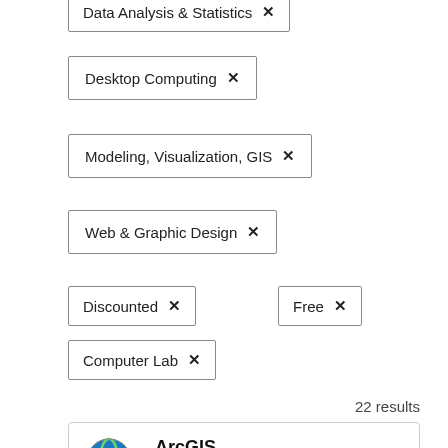Data Analysis & Statistics ×
Desktop Computing ×
Modeling, Visualization, GIS ×
Web & Graphic Design ×
Discounted ×
Free ×
Computer Lab ×
22 results
ArcGIS
ArcGIS Desktop and ArcGIS